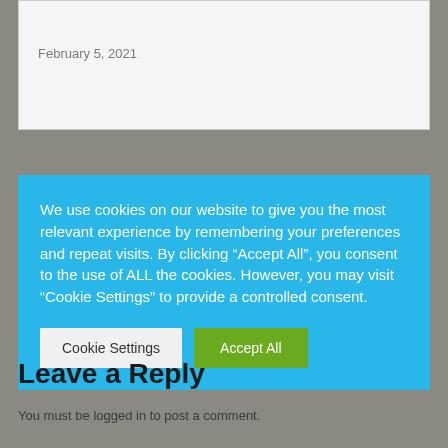February 5, 2021
We use cookies on our website to give you the most relevant experience by remembering your preferences and repeat visits. By clicking “Accept All”, you consent to the use of ALL the cookies. However, you may visit "Cookie Settings" to provide a controlled consent.
Cookie Settings
Accept All
Leave a Reply
You must be logged in to post a comment.